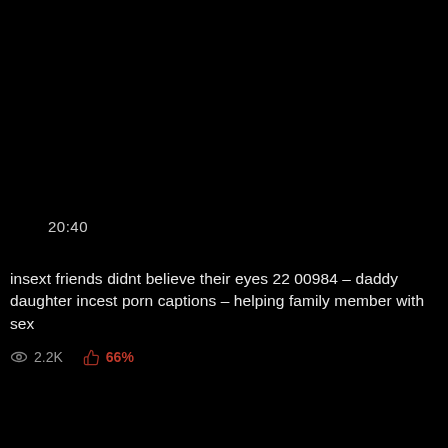20:40
insext friends didnt believe their eyes 22 00984 – daddy daughter incest porn captions – helping family member with sex
2.2K  66%